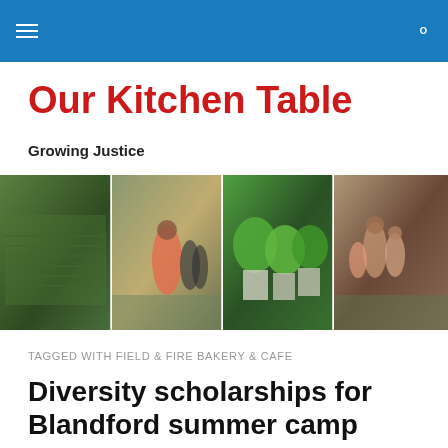Our Kitchen Table — navigation bar
Our Kitchen Table
Growing Justice
[Figure (photo): Four-panel banner photo collage: seedling trays in a greenhouse, people walking outdoors, container garden with leafy plants, family group posing outdoors]
TAGGED WITH FIELD & FIRE BAKERY & CAFE
Diversity scholarships for Blandford summer camp program